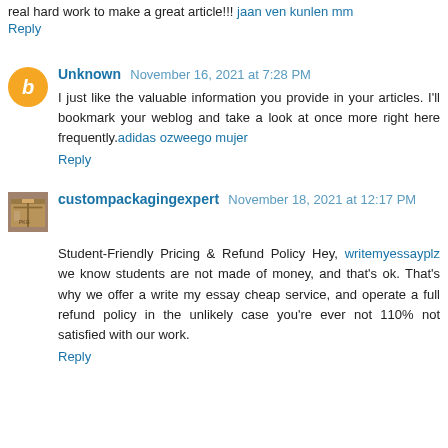real hard work to make a great article!!! jaan ven kunlen mm (link)
Reply
Unknown  November 16, 2021 at 7:28 PM
I just like the valuable information you provide in your articles. I'll bookmark your weblog and take a look at once more right here frequently. adidas ozweego mujer
Reply
custompackagingexpert  November 18, 2021 at 12:17 PM
Student-Friendly Pricing & Refund Policy Hey, writemyessayplz we know students are not made of money, and that's ok. That's why we offer a write my essay cheap service, and operate a full refund policy in the unlikely case you're ever not 110% not satisfied with our work.
Reply